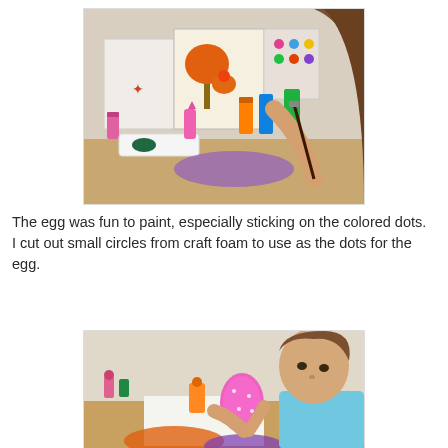[Figure (photo): A child painting at a table with colorful art supplies, paint bottles, and artwork visible in the background.]
The egg was fun to paint, especially sticking on the colored dots.  I cut out small circles from craft foam to use as the dots for the egg.
[Figure (photo): A young girl holding a pink egg-shaped object and working on a craft project at a table with paint bottles visible.]